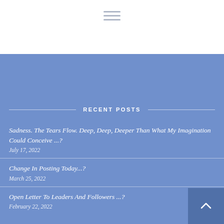[Figure (other): Hamburger menu icon (three horizontal lines) on white background]
RECENT POSTS
Sadness. The Tears Flow. Deep, Deep, Deeper Than What My Imagination Could Conceive ...?
July 17, 2022
Change In Posting Today...?
March 25, 2022
Open Letter To Leaders And Followers ...?
February 22, 2022